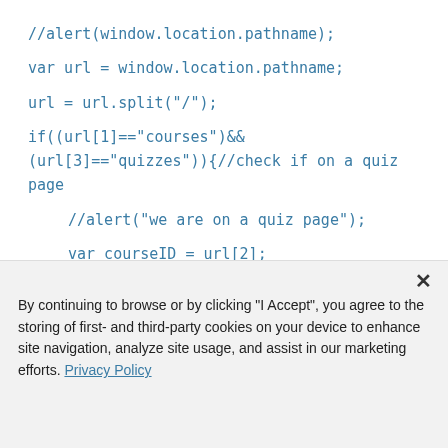//alert(window.location.pathname);
var url = window.location.pathname;
url = url.split("/");
if((url[1]=="courses")&&(url[3]=="quizzes")){//check if on a quiz page
//alert("we are on a quiz page");
var courseID = url[2];
var quizID = url[4];
var quizReadOnlyPage = url[5];
By continuing to browse or by clicking "I Accept", you agree to the storing of first- and third-party cookies on your device to enhance site navigation, analyze site usage, and assist in our marketing efforts. Privacy Policy